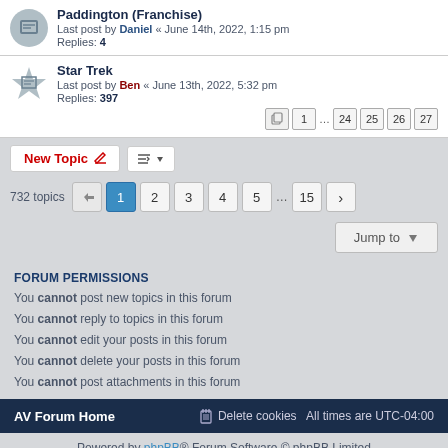Paddington (Franchise) - Last post by Daniel « June 14th, 2022, 1:15 pm - Replies: 4
Star Trek - Last post by Ben « June 13th, 2022, 5:32 pm - Replies: 397 - Pages: 1 ... 24 25 26 27
732 topics - New Topic - Sort - Pagination: 1 2 3 4 5 ... 15 >
Jump to
FORUM PERMISSIONS
You cannot post new topics in this forum
You cannot reply to topics in this forum
You cannot edit your posts in this forum
You cannot delete your posts in this forum
You cannot post attachments in this forum
AV Forum Home | Delete cookies | All times are UTC-04:00
Powered by phpBB® Forum Software © phpBB Limited
Privacy | Terms